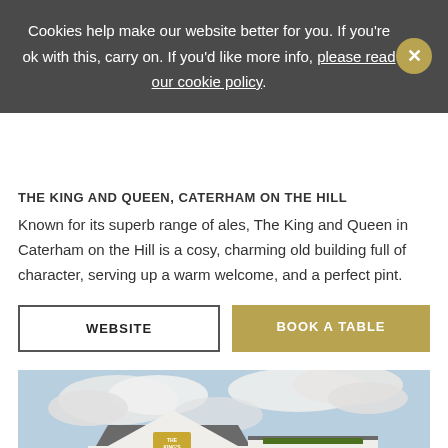Cookies help make our website better for you. If you're ok with this, carry on. If you'd like more info, please read our cookie policy.
THE KING AND QUEEN, CATERHAM ON THE HILL
Known for its superb range of ales, The King and Queen in Caterham on the Hill is a cosy, charming old building full of character, serving up a warm welcome, and a perfect pint.
WEBSITE
BOOK A TABLE
[Figure (photo): Exterior photo of The King's Head pub, a white two-storey building with hanging flower baskets, signage reading THE KING'S HEAD, blue sky with clouds in background, red car visible on right, neighbouring brick buildings.]